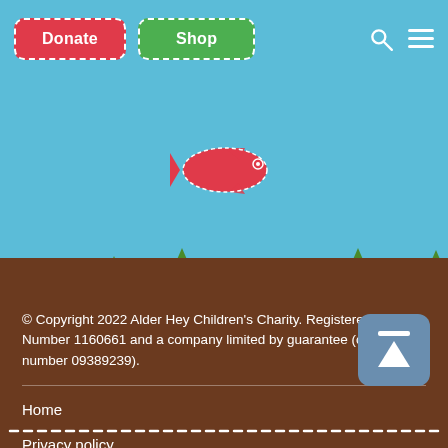[Figure (screenshot): Website navigation bar with red Donate button and green Shop button, plus search and menu icons on sky blue background]
[Figure (illustration): Red cartoon fish flying in sky blue background above terrain]
© Copyright 2022 Alder Hey Children's Charity. Registered Charity Number 1160661 and a company limited by guarantee (company number 09389239).
Home
Privacy policy
Sitemap
Contact
Donate
Shop